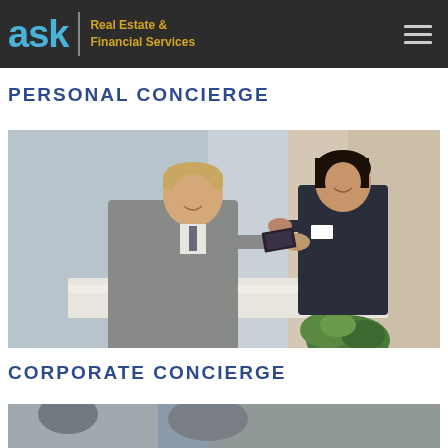ask | Real Estate & Financial Services
PERSONAL CONCIERGE
[Figure (photo): A man in a grey suit and a woman in a dark business jacket exchanging documents at a reception desk with a small green plant in the foreground]
CORPORATE CONCIERGE
[Figure (photo): Bottom portion of a corporate concierge scene, partially visible]